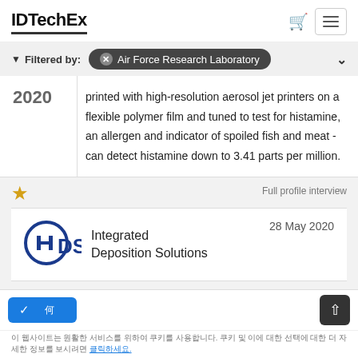IDTechEx
Filtered by: Air Force Research Laboratory
printed with high-resolution aerosol jet printers on a flexible polymer film and tuned to test for histamine, an allergen and indicator of spoiled fish and meat - can detect histamine down to 3.41 parts per million.
Full profile interview
Integrated Deposition Solutions  28 May 2020
이 웹사이트는 원활한 서비스를 위하여 쿠키를 사용합니다. 쿠키 및 이에 대한 선택에 대한 더 자세한 정보를 보시려면.